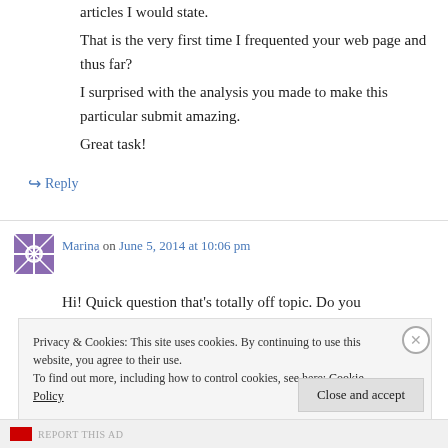articles I would state.

That is the very first time I frequented your web page and thus far?

I surprised with the analysis you made to make this particular submit amazing.

Great task!
↪ Reply
Marina on June 5, 2014 at 10:06 pm
Hi! Quick question that's totally off topic. Do you
Privacy & Cookies: This site uses cookies. By continuing to use this website, you agree to their use.
To find out more, including how to control cookies, see here: Cookie Policy
Close and accept